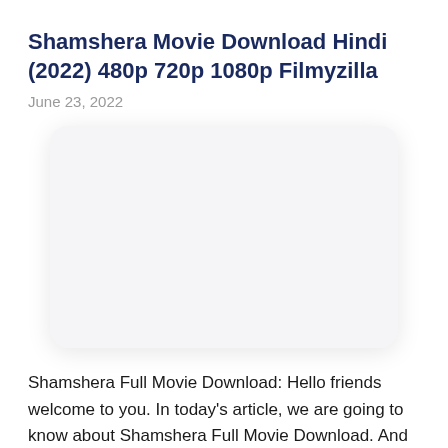Shamshera Movie Download Hindi (2022) 480p 720p 1080p Filmyzilla
June 23, 2022
[Figure (other): Blank white rounded rectangle placeholder image box]
Shamshera Full Movie Download: Hello friends welcome to you. In today's article, we are going to know about Shamshera Full Movie Download. And are going to Watch Shamshera Full Movie in Read...